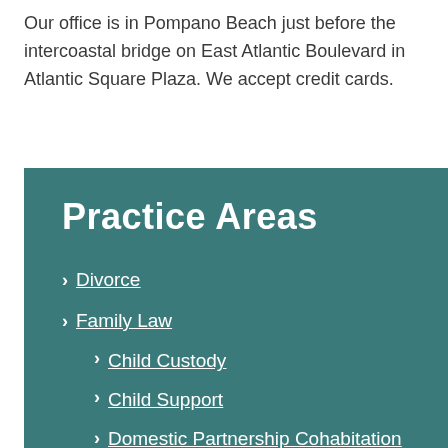Our office is in Pompano Beach just before the intercoastal bridge on East Atlantic Boulevard in Atlantic Square Plaza. We accept credit cards.
Practice Areas
Divorce
Family Law
Child Custody
Child Support
Domestic Partnership Cohabitation Agreement
Domestic Violence